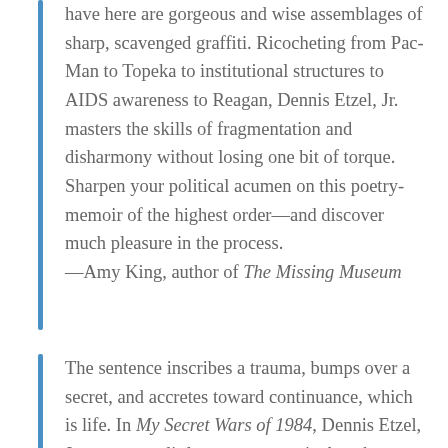have here are gorgeous and wise assemblages of sharp, scavenged graffiti. Ricocheting from Pac-Man to Topeka to institutional structures to AIDS awareness to Reagan, Dennis Etzel, Jr. masters the skills of fragmentation and disharmony without losing one bit of torque. Sharpen your political acumen on this poetry-memoir of the highest order—and discover much pleasure in the process.
—Amy King, author of The Missing Museum
The sentence inscribes a trauma, bumps over a secret, and accretes toward continuance, which is life. In My Secret Wars of 1984, Dennis Etzel, Jr. constructs little sentence survival packets, brimming